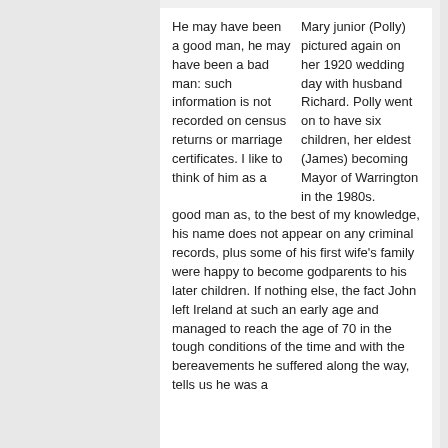He may have been a good man, he may have been a bad man: such information is not recorded on census returns or marriage certificates. I like to think of him as a good man as, to the best of my knowledge, his name does not appear on any criminal records, plus some of his first wife's family were happy to become godparents to his later children. If nothing else, the fact John left Ireland at such an early age and managed to reach the age of 70 in the tough conditions of the time and with the bereavements he suffered along the way, tells us he was a ...
Mary junior (Polly) pictured again on her 1920 wedding day with husband Richard. Polly went on to have six children, her eldest (James) becoming Mayor of Warrington in the 1980s.